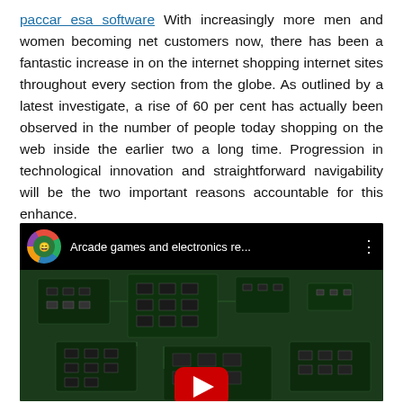paccar esa software With increasingly more men and women becoming net customers now, there has been a fantastic increase in on the internet shopping internet sites throughout every section from the globe. As outlined by a latest investigate, a rise of 60 per cent has actually been observed in the number of people today shopping on the web inside the earlier two a long time. Progression in technological innovation and straightforward navigability will be the two important reasons accountable for this enhance.
[Figure (screenshot): Embedded YouTube video thumbnail showing a circuit board (PCB) with green electronics components. The video top bar shows a channel icon, the title 'Arcade games and electronics re...' and a three-dot menu. A YouTube play button is visible at the bottom center.]